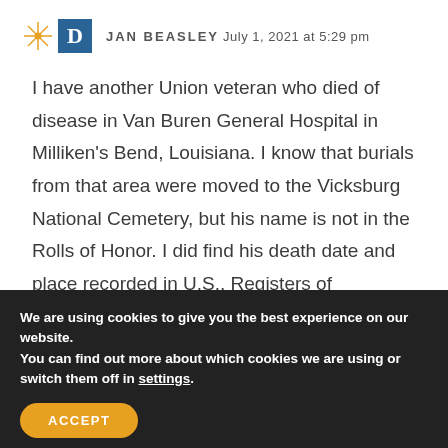JAN BEASLEY  July 1, 2021 at 5:29 pm
I have another Union veteran who died of disease in Van Buren General Hospital in Milliken's Bend, Louisiana. I know that burials from that area were moved to the Vicksburg National Cemetery, but his name is not in the Rolls of Honor. I did find his death date and place recorded in U.S., Registers of
We are using cookies to give you the best experience on our website.
You can find out more about which cookies we are using or switch them off in settings.
ACCEPT